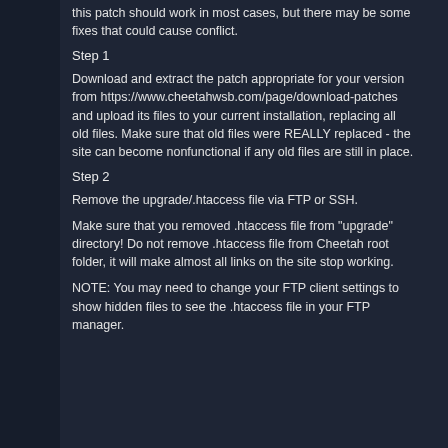this patch should work in most cases, but there may be some fixes that could cause conflict.
Step 1
Download and extract the patch appropriate for your version from https://www.cheetahwsb.com/page/download-patches and upload its files to your current installation, replacing all old files. Make sure that old files were REALLY replaced - the site can become nonfunctional if any old files are still in place.
Step 2
Remove the upgrade/.htaccess file via FTP or SSH.
Make sure that you removed .htaccess file from "upgrade" directory! Do not remove .htaccess file from Cheetah root folder, it will make almost all links on the site stop working.
NOTE: You may need to change your FTP client settings to show hidden files to see the .htaccess file in your FTP manager.